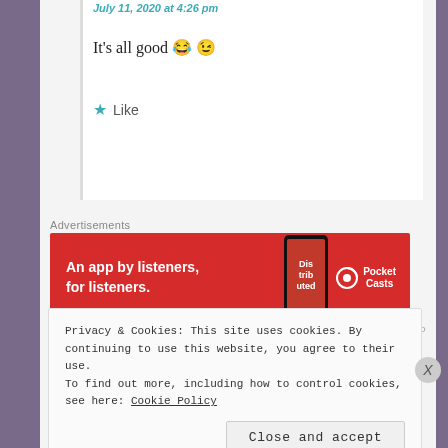July 11, 2020 at 4:26 pm
It's all good 😂😉
★ Like
Advertisements
[Figure (illustration): Pocket Casts advertisement banner: red background with text 'An app by listeners, for listeners.' and a phone showing 'Distributed' text, and the Pocket Casts logo on the right.]
REPORT THIS AD
Privacy & Cookies: This site uses cookies. By continuing to use this website, you agree to their use.
To find out more, including how to control cookies, see here: Cookie Policy
Close and accept